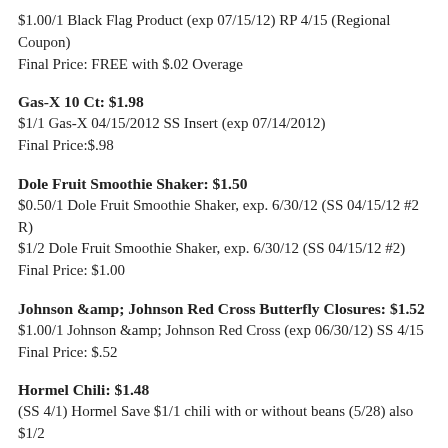$1.00/1 Black Flag Product (exp 07/15/12) RP 4/15 (Regional Coupon)
Final Price: FREE with $.02 Overage
Gas-X 10 Ct: $1.98
$1/1 Gas-X 04/15/2012 SS Insert (exp 07/14/2012)
Final Price:$.98
Dole Fruit Smoothie Shaker: $1.50
$0.50/1 Dole Fruit Smoothie Shaker, exp. 6/30/12 (SS 04/15/12 #2 R)
$1/2 Dole Fruit Smoothie Shaker, exp. 6/30/12 (SS 04/15/12 #2)
Final Price: $1.00
Johnson & Johnson Red Cross Butterfly Closures: $1.52
$1.00/1 Johnson & Johnson Red Cross (exp 06/30/12) SS 4/15
Final Price: $.52
Hormel Chili: $1.48
(SS 4/1) Hormel Save $1/1 chili with or without beans (5/28) also $1/2